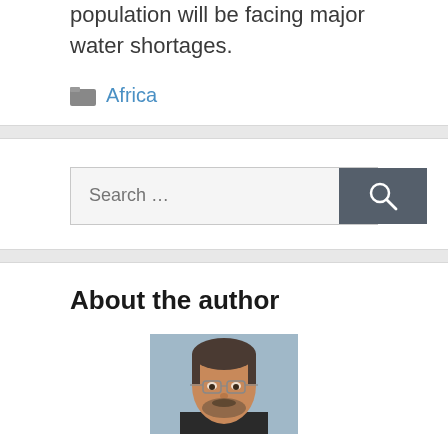population will be facing major water shortages.
Africa
Search ...
About the author
[Figure (photo): Headshot of a middle-aged man with glasses, dark hair, and a beard, wearing a dark jacket against a light blue background.]